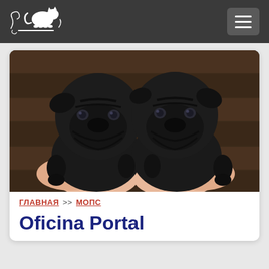Navigation bar with logo and hamburger menu
[Figure (photo): Two black pug puppies being held up by human hands, facing the camera. Close-up shot showing their wrinkled black faces and floppy ears.]
ГЛАВНАЯ >> МОПС
Oficina Portal